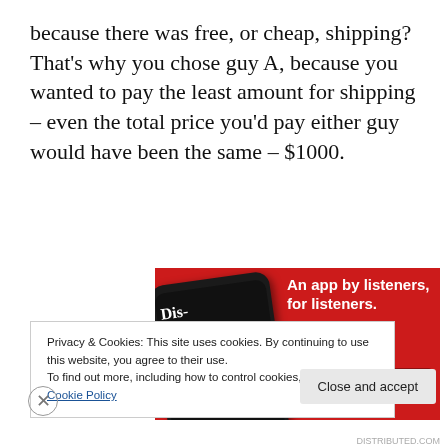because there was free, or cheap, shipping? That's why you chose guy A, because you wanted to pay the least amount for shipping – even the total price you'd pay either guy would have been the same – $1000.
[Figure (illustration): Advertisement banner on red background showing a smartphone with a podcast app 'Distributed' displayed, alongside text 'An app by listeners, for listeners.' and a 'Download now' button.]
Privacy & Cookies: This site uses cookies. By continuing to use this website, you agree to their use.
To find out more, including how to control cookies, see here: Cookie Policy